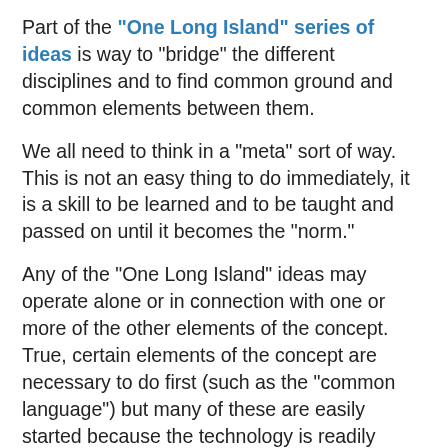Part of the "One Long Island" series of ideas is way to "bridge" the different disciplines and to find common ground and common elements between them.
We all need to think in a "meta" sort of way. This is not an easy thing to do immediately, it is a skill to be learned and to be taught and passed on until it becomes the "norm."
Any of the "One Long Island" ideas may operate alone or in connection with one or more of the other elements of the concept. True, certain elements of the concept are necessary to do first (such as the "common language") but many of these are easily started because the technology is readily available. It just requires a little organization.
Once you have the framework in place true conversation may occur. And conversation not just based on visceral opinion but on real information and analysis and informed opinion.
The anarchy we see in today's media is most likely caused by the unknown. What is the role of media today and going forward? Where can we get our news unfiltered through the